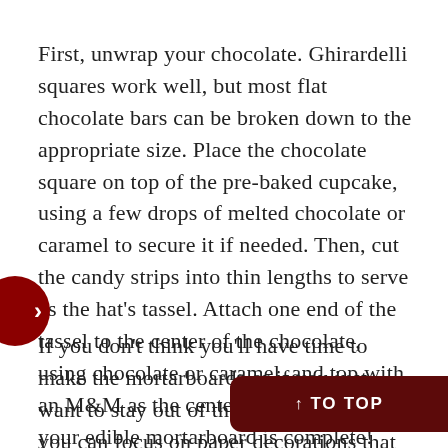First, unwrap your chocolate. Ghirardelli squares work well, but most flat chocolate bars can be broken down to the appropriate size. Place the chocolate square on top of the pre-baked cupcake, using a few drops of melted chocolate or caramel to secure it if needed. Then, cut the candy strips into thin lengths to serve as the hat's tassel. Attach one end of the tassel to the center of the chocolate, using chocolate or caramel, and top with an M&M as the center button. Voila – your edible mortarboard is complete!
If you don't think you'll have time to make the mortarboards or if you just want to stay out of the kitchen altogether, you can focus on paper decorations that will make your cupcake